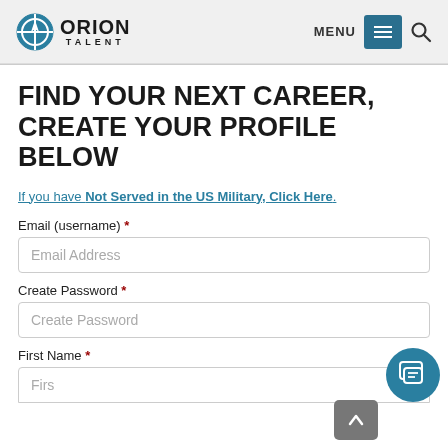[Figure (logo): Orion Talent logo with compass icon, MENU button, and search icon in gray header bar]
FIND YOUR NEXT CAREER, CREATE YOUR PROFILE BELOW
If you have Not Served in the US Military, Click Here.
Email (username) *
Email Address (placeholder)
Create Password *
Create Password (placeholder)
First Name *